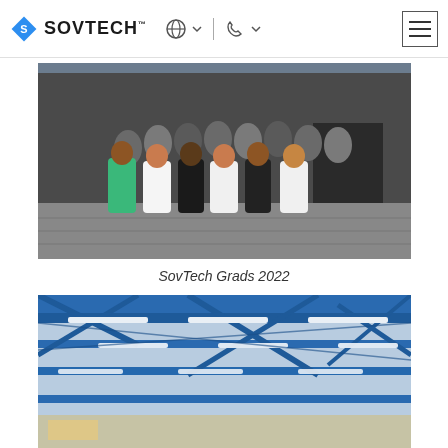SOVTECH
[Figure (photo): Group photo of SovTech graduates 2022, approximately 20+ people standing outside in front of a dark building on a paved courtyard on a sunny day.]
SovTech Grads 2022
[Figure (photo): Interior photo of a building/warehouse with a blue steel roof structure and fluorescent strip lighting running across the ceiling.]